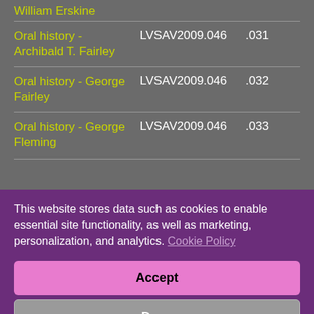William Erskine
| Oral history - Archibald T. Fairley | LVSAV2009.046 | .031 |
| Oral history - George Fairley | LVSAV2009.046 | .032 |
| Oral history - George Fleming | LVSAV2009.046 | .033 |
This website stores data such as cookies to enable essential site functionality, as well as marketing, personalization, and analytics. Cookie Policy
Accept
Deny